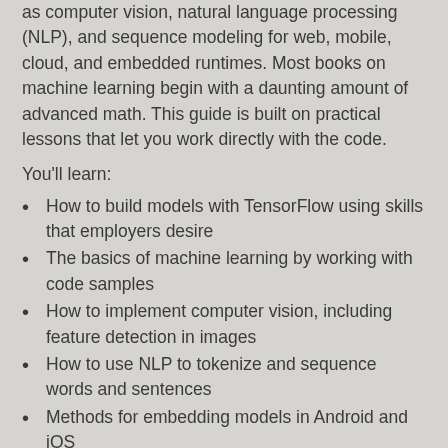as computer vision, natural language processing (NLP), and sequence modeling for web, mobile, cloud, and embedded runtimes. Most books on machine learning begin with a daunting amount of advanced math. This guide is built on practical lessons that let you work directly with the code.
You'll learn:
How to build models with TensorFlow using skills that employers desire
The basics of machine learning by working with code samples
How to implement computer vision, including feature detection in images
How to use NLP to tokenize and sequence words and sentences
Methods for embedding models in Android and iOS
How to serve models over the web and in the cloud with TensorFlow Serving
About the Author
Laurence Moroney leads AI Advocacy at Google. His goal is to educate the world of